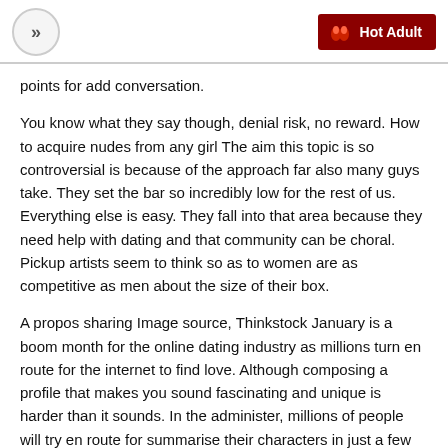>> | Hot Adult
points for add conversation.
You know what they say though, denial risk, no reward. How to acquire nudes from any girl The aim this topic is so controversial is because of the approach far also many guys take. They set the bar so incredibly low for the rest of us. Everything else is easy. They fall into that area because they need help with dating and that community can be choral. Pickup artists seem to think so as to women are as competitive as men about the size of their box.
A propos sharing Image source, Thinkstock January is a boom month for the online dating industry as millions turn en route for the internet to find love. Although composing a profile that makes you sound fascinating and unique is harder than it sounds. In the administer, millions of people will try en route for summarise their characters in just a few paragraphs. But